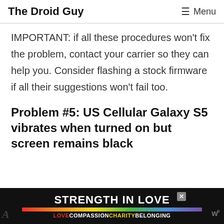The Droid Guy  ☰ Menu
IMPORTANT: if all these procedures won't fix the problem, contact your carrier so they can help you. Consider flashing a stock firmware if all their suggestions won't fail too.
Problem #5: US Cellular Galaxy S5 vibrates when turned on but screen remains black
[Figure (other): Advertisement banner: STRENGTH IN LOVE with rainbow bar, LOVECOMPASSIONCHARITYBELONGING text]